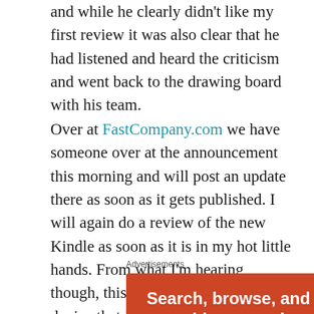and while he clearly didn't like my first review it was also clear that he had listened and heard the criticism and went back to the drawing board with his team.
Over at FastCompany.com we have someone over at the announcement this morning and will post an update there as soon as it gets published. I will again do a review of the new Kindle as soon as it is in my hot little hands. From what I'm hearing, though, this will be a breakthrough device that is much more popular than the first version.
Advertisements
[Figure (infographic): Orange advertisement banner reading 'Search, browse, and email with more privacy. All in One Free App']